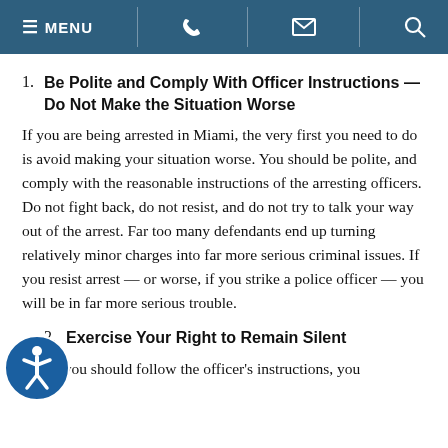MENU | phone icon | email icon | search icon
1. Be Polite and Comply With Officer Instructions — Do Not Make the Situation Worse
If you are being arrested in Miami, the very first you need to do is avoid making your situation worse. You should be polite, and comply with the reasonable instructions of the arresting officers. Do not fight back, do not resist, and do not try to talk your way out of the arrest. Far too many defendants end up turning relatively minor charges into far more serious criminal issues. If you resist arrest — or worse, if you strike a police officer — you will be in far more serious trouble.
2. Exercise Your Right to Remain Silent
While you should follow the officer's instructions, you